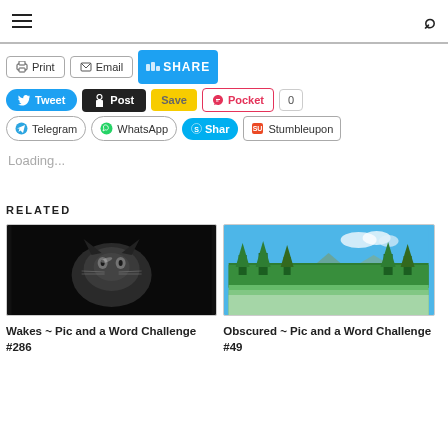Navigation header with hamburger menu and search icon
[Figure (screenshot): Social share buttons row: Print, Email, Share (blue bar)]
[Figure (screenshot): Social share buttons row 2: Tweet, Post, Save, Pocket, count 0]
[Figure (screenshot): Social share buttons row 3: Telegram, WhatsApp, Shar (Skype), Stumbleupon]
Loading...
RELATED
[Figure (photo): Black and white photo of a cat in dark surroundings]
Wakes ~ Pic and a Word Challenge #286
[Figure (photo): Color photo of a green meadow with tall trees and blue sky]
Obscured ~ Pic and a Word Challenge #49